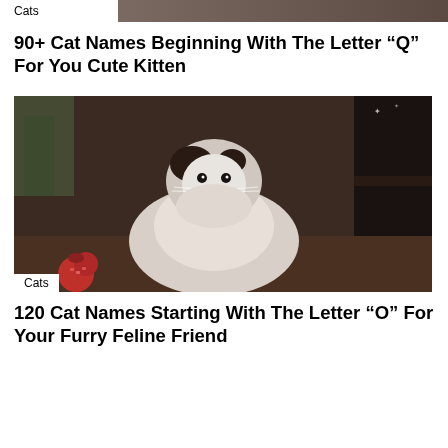Cats
90+ Cat Names Beginning With The Letter “Q” For You Cute Kitten
[Figure (photo): A fluffy black and white long-haired cat looking upward, with a pomegranate in the lower left corner and a dark indoor background with plants.]
Cats
120 Cat Names Starting With The Letter “O” For Your Furry Feline Friend